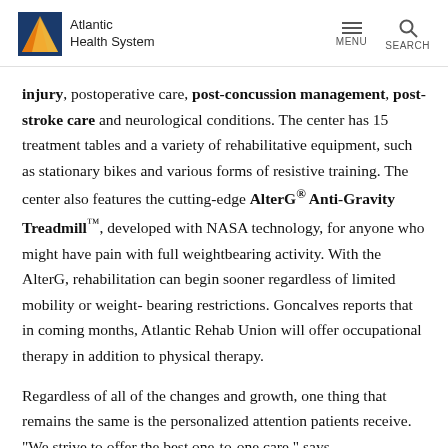Atlantic Health System — MENU SEARCH
injury, postoperative care, post-concussion management, post-stroke care and neurological conditions. The center has 15 treatment tables and a variety of rehabilitative equipment, such as stationary bikes and various forms of resistive training. The center also features the cutting-edge AlterG® Anti-Gravity Treadmill™, developed with NASA technology, for anyone who might have pain with full weightbearing activity. With the AlterG, rehabilitation can begin sooner regardless of limited mobility or weight-bearing restrictions. Goncalves reports that in coming months, Atlantic Rehab Union will offer occupational therapy in addition to physical therapy.
Regardless of all of the changes and growth, one thing that remains the same is the personalized attention patients receive. "We strive to offer the best one-to-one care," says